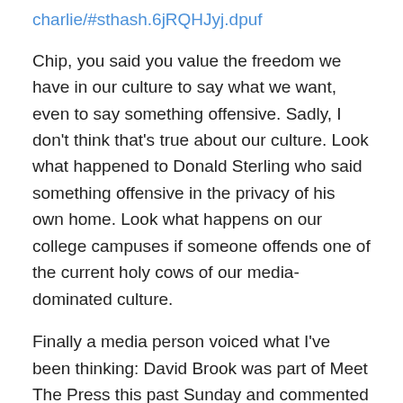charlie/#sthash.6jRQHJyj.dpuf
Chip, you said you value the freedom we have in our culture to say what we want, even to say something offensive. Sadly, I don't think that's true about our culture. Look what happened to Donald Sterling who said something offensive in the privacy of his own home. Look what happens on our college campuses if someone offends one of the current holy cows of our media-dominated culture.
Finally a media person voiced what I've been thinking: David Brook was part of Meet The Press this past Sunday and commented on an article he'd written. Here's part of the transcript:
(Todd then quoting from Brooks' column) — The journalists at Charlie Hebdo are now rightly being